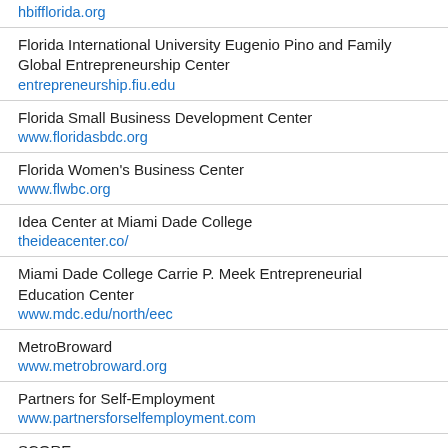hbifflorida.org
Florida International University Eugenio Pino and Family Global Entrepreneurship Center
entrepreneurship.fiu.edu
Florida Small Business Development Center
www.floridasbdc.org
Florida Women's Business Center
www.flwbc.org
Idea Center at Miami Dade College
theideacenter.co/
Miami Dade College Carrie P. Meek Entrepreneurial Education Center
www.mdc.edu/north/eec
MetroBroward
www.metrobroward.org
Partners for Self-Employment
www.partnersforselfemployment.com
SCORE
www.miamidade.score.org